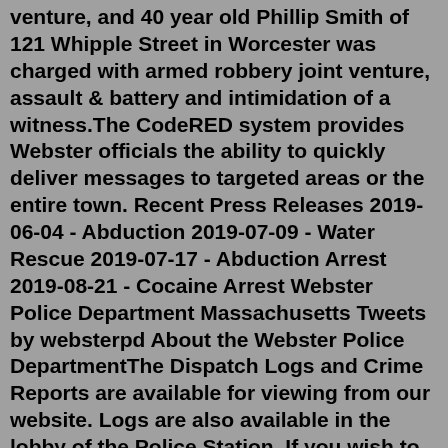venture, and 40 year old Phillip Smith of 121 Whipple Street in Worcester was charged with armed robbery joint venture, assault & battery and intimidation of a witness.The CodeRED system provides Webster officials the ability to quickly deliver messages to targeted areas or the entire town. Recent Press Releases 2019-06-04 - Abduction 2019-07-09 - Water Rescue 2019-07-17 - Abduction Arrest 2019-08-21 - Cocaine Arrest Webster Police Department Massachusetts Tweets by websterpd About the Webster Police DepartmentThe Dispatch Logs and Crime Reports are available for viewing from our website. Logs are also available in the lobby of the Police Station. If you wish to view a full version of this log, please contact the Webster Police Department Records Office at 508-943-1212 extension 3005. Please contact the Webster Police Department Records Office with ... WEBSTER, N.Y. (WHEC) — Webster police said a four-time convicted felon fired a shot after a confrontation over trash being thrown from his car. Police said two cars were stopped at a traffic